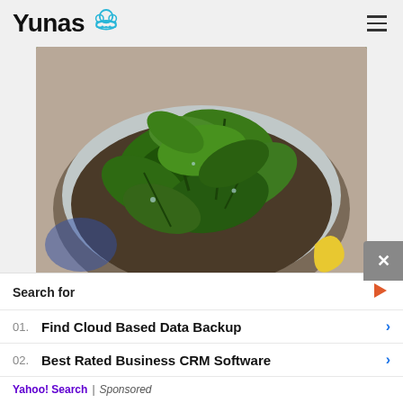Yunas (logo with chef hat)
[Figure (photo): Bowl of fresh chopped spinach leaves in a metal colander/bowl, viewed from above on a countertop]
Boil the spinach in ½ cup boiling water. After that, dry it and leave to cool. Press
Search for
01. Find Cloud Based Data Backup
02. Best Rated Business CRM Software
Yahoo! Search | Sponsored